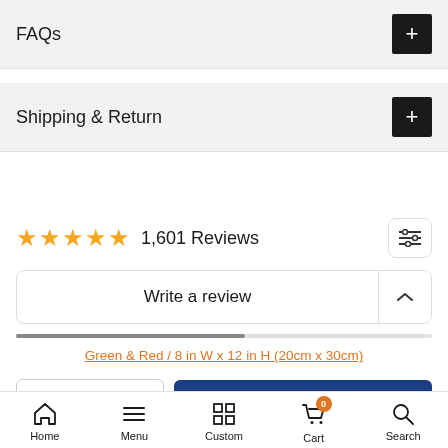FAQs
Shipping & Return
1,601 Reviews
Write a review
Green & Red / 8 in W x 12 in H (20cm x 30cm)
- 1 +
ADD TO CART
Home  Menu  Custom  Cart  Search